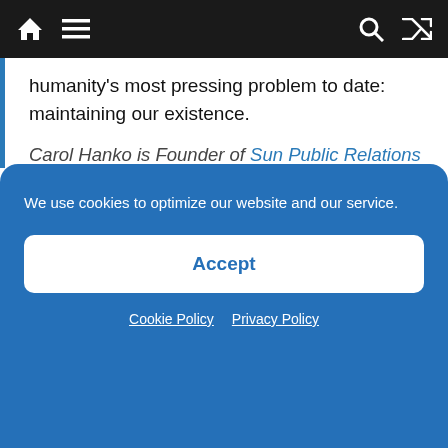Navigation bar with home, menu, search, and shuffle icons
humanity's most pressing problem to date: maintaining our existence.
Carol Hanko is Founder of Sun Public Relations based in Austin, Texas. She has spent more than 20 years working in the technology industry in various PR positions working with startups and global brands.
We use cookies to optimize our website and our service.
Accept
Cookie Policy  Privacy Policy